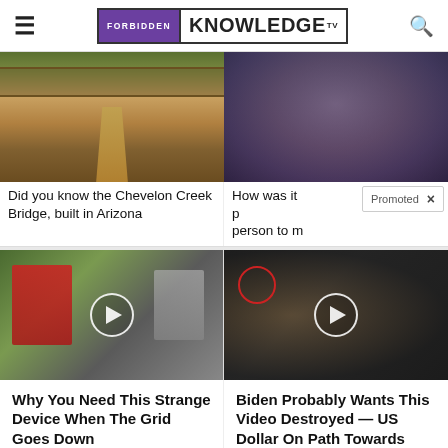FORBIDDEN KNOWLEDGE TV
[Figure (photo): Chevelon Creek Bridge photo - road/bridge in Arizona desert]
[Figure (photo): Stone structure photo - ancient stone construction]
Did you know the Chevelon Creek Bridge, built in Arizona
How was it possible for one person to m...
Promoted ×
[Figure (photo): Video thumbnail - cars in rain, ad for strange device]
[Figure (photo): Video thumbnail - men in suits at CIA, ad for Biden video]
Why You Need This Strange Device When The Grid Goes Down
Watch The Video
Biden Probably Wants This Video Destroyed — US Dollar On Path Towards Replacement?
Watch The Video